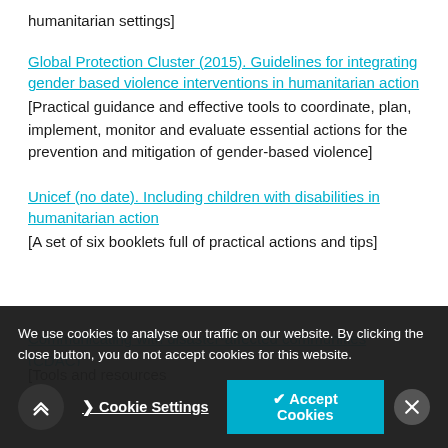humanitarian settings]
Global Protection Cluster (2015). Guidelines for integrating gender based violence interventions in humanitarian action [Practical guidance and effective tools to coordinate, plan, implement, monitor and evaluate essential actions for the prevention and mitigation of gender-based violence]
Unicef (no date). Including children with disabilities in humanitarian action [A set of six booklets full of practical actions and tips]
Communicating with disaster-affected communities (CDAC) [Tools and resources...]